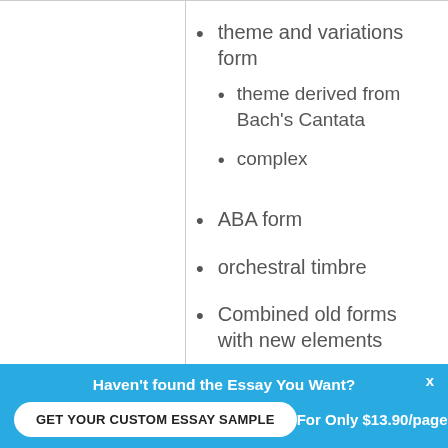theme and variations form
theme derived from Bach's Cantata
complex
ABA form
orchestral timbre
Combined old forms with new elements
Haven't found the Essay You Want?
GET YOUR CUSTOM ESSAY SAMPLE
For Only $13.90/page